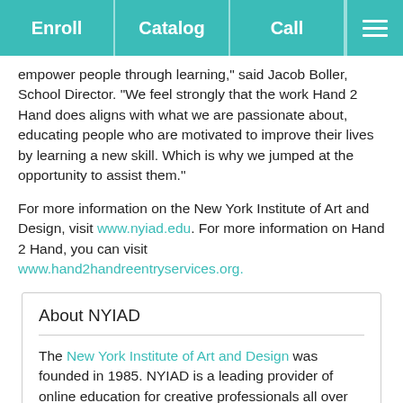Enroll | Catalog | Call | Menu
empower people through learning," said Jacob Boller, School Director. "We feel strongly that the work Hand 2 Hand does aligns with what we are passionate about, educating people who are motivated to improve their lives by learning a new skill. Which is why we jumped at the opportunity to assist them."
For more information on the New York Institute of Art and Design, visit www.nyiad.edu. For more information on Hand 2 Hand, you can visit www.hand2handreentryservices.org.
About NYIAD
The New York Institute of Art and Design was founded in 1985. NYIAD is a leading provider of online education for creative professionals all over